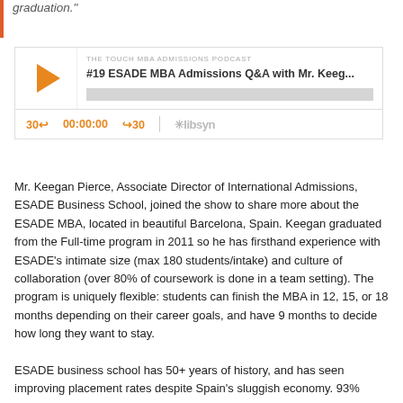graduation."
[Figure (screenshot): Podcast player widget for 'THE TOUCH MBA ADMISSIONS PODCAST' episode '#19 ESADE MBA Admissions Q&A with Mr. Keeg...' with play button, progress bar, time controls (30 back, 00:00:00, forward 30), and Libsyn logo]
Mr. Keegan Pierce, Associate Director of International Admissions, ESADE Business School, joined the show to share more about the ESADE MBA, located in beautiful Barcelona, Spain. Keegan graduated from the Full-time program in 2011 so he has firsthand experience with ESADE's intimate size (max 180 students/intake) and culture of collaboration (over 80% of coursework is done in a team setting). The program is uniquely flexible: students can finish the MBA in 12, 15, or 18 months depending on their career goals, and have 9 months to decide how long they want to stay.
ESADE business school has 50+ years of history, and has seen improving placement rates despite Spain's sluggish economy. 93%